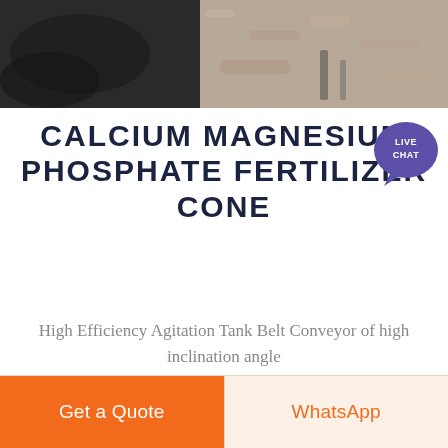[Figure (photo): Industrial minerals/materials photo showing dark granular material (left) and sandy/rocky surface (right)]
CALCIUM MAGNESIUM PHOSPHATE FERTILIZER CONE
High Efficiency Agitation Tank Belt Conveyor of high inclination angle
Get a Quote
WhatsApp